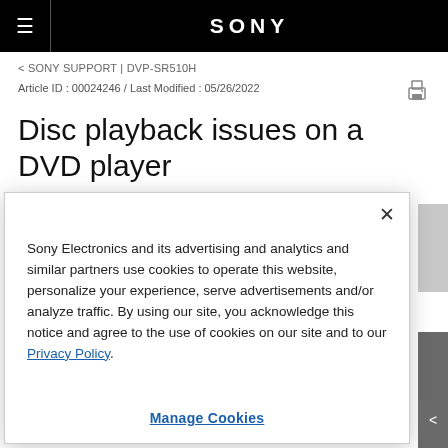SONY
< SONY SUPPORT | DVP-SR510H
Article ID : 00024246 / Last Modified : 05/26/2022
Disc playback issues on a DVD player
Sony Electronics and its advertising and analytics and similar partners use cookies to operate this website, personalize your experience, serve advertisements and/or analyze traffic. By using our site, you acknowledge this notice and agree to the use of cookies on our site and to our Privacy Policy.
Manage Cookies